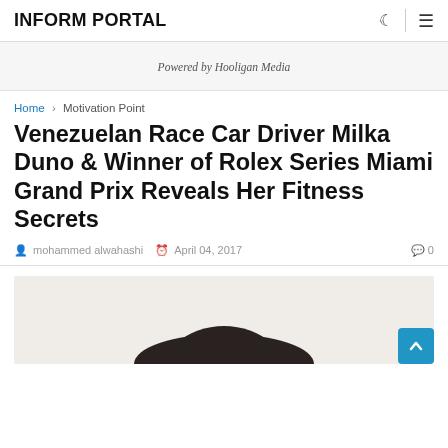INFORM PORTAL
Powered by Hooligan Media
Home > Motivation Point
Venezuelan Race Car Driver Milka Duno & Winner of Rolex Series Miami Grand Prix Reveals Her Fitness Secrets
mohammed alwahashi  April 04, 2017  0
[Figure (photo): Partial photo of a person, cropped at top of frame showing dark hair against a light background]